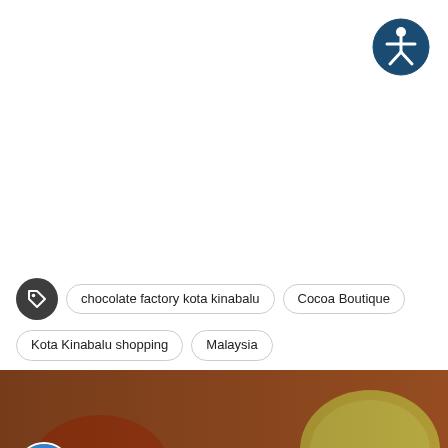[Figure (logo): Accessibility icon — white stick figure person in a circle, dark blue background, top-right corner]
chocolate factory kota kinabalu
Cocoa Boutique
Kota Kinabalu shopping
Malaysia
[Figure (photo): Video thumbnail showing a seafood dish — crabs, shrimp, lemon wedges, herbs on a plate — with a circular channel avatar on the left and white text 'Tara na sa Seafood Capital of the Philippines -' overlaid on the image]